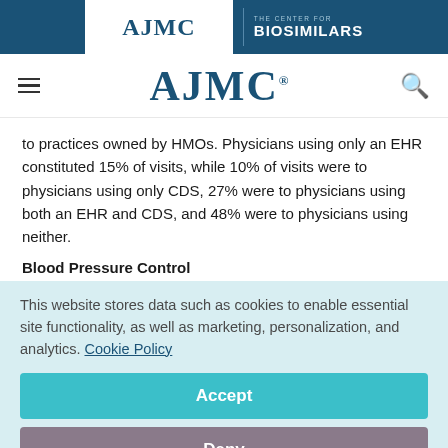AJMC | THE CENTER FOR BIOSIMILARS
AJMC
to practices owned by HMOs. Physicians using only an EHR constituted 15% of visits, while 10% of visits were to physicians using only CDS, 27% were to physicians using both an EHR and CDS, and 48% were to physicians using neither.
Blood Pressure Control
This website stores data such as cookies to enable essential site functionality, as well as marketing, personalization, and analytics. Cookie Policy
Accept
Deny